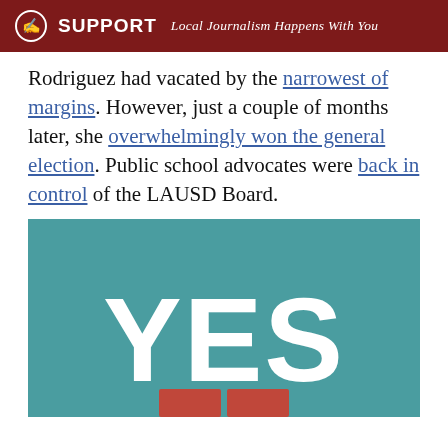SUPPORT  Local Journalism Happens With You
Rodriguez had vacated by the narrowest of margins. However, just a couple of months later, she overwhelmingly won the general election. Public school advocates were back in control of the LAUSD Board.
[Figure (illustration): Teal/green background image with large bold white text reading 'YES' and two red buttons partially visible at the bottom.]